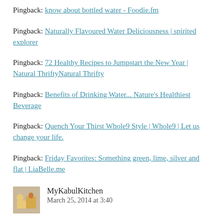Pingback: know about bottled water - Foodie.fm
Pingback: Naturally Flavoured Water Deliciousness | spirited explorer
Pingback: 72 Healthy Recipes to Jumpstart the New Year | Natural ThriftyNatural Thrifty
Pingback: Benefits of Drinking Water... Nature's Healthiest Beverage
Pingback: Quench Your Thirst Whole9 Style | Whole9 | Let us change your life.
Pingback: Friday Favorites: Something green, lime, silver and flat | LiaBelle.me
MyKabulKitchen
March 25, 2014 at 3:40